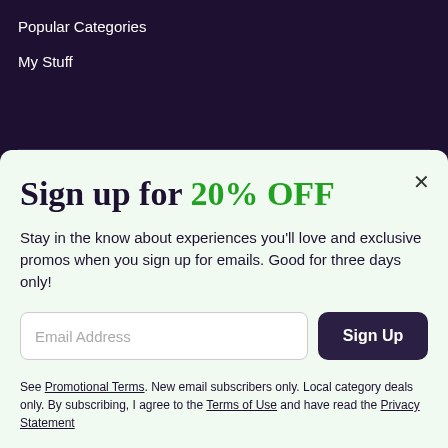Popular Categories
My Stuff
Sign up for 20% OFF
Stay in the know about experiences you'll love and exclusive promos when you sign up for emails. Good for three days only!
Email Address
Sign Up
See Promotional Terms. New email subscribers only. Local category deals only. By subscribing, I agree to the Terms of Use and have read the Privacy Statement